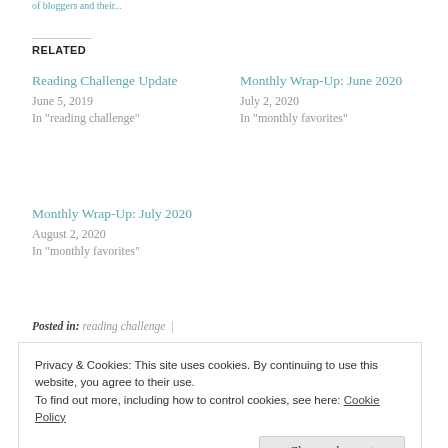of bloggers and their...
RELATED
Reading Challenge Update
June 5, 2019
In "reading challenge"
Monthly Wrap-Up: June 2020
July 2, 2020
In "monthly favorites"
Monthly Wrap-Up: July 2020
August 2, 2020
In "monthly favorites"
Posted in: reading challenge |
Privacy & Cookies: This site uses cookies. By continuing to use this website, you agree to their use.
To find out more, including how to control cookies, see here: Cookie Policy
Close and accept